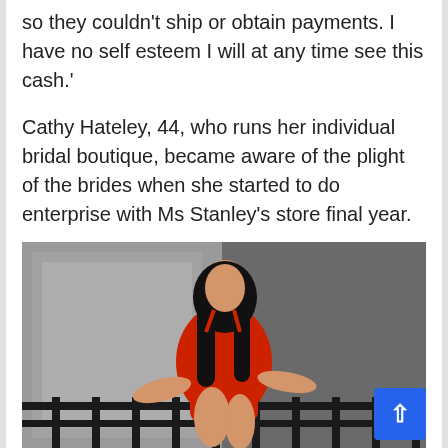so they couldn't ship or obtain payments. I have no self esteem I will at any time see this cash.'
Cathy Hateley, 44, who runs her individual bridal boutique, became aware of the plight of the brides when she started to do enterprise with Ms Stanley's store final year.
[Figure (photo): A woman with long dark hair wearing a red swimsuit/bodysuit, posing against a metallic/glittery background with a black railing.]